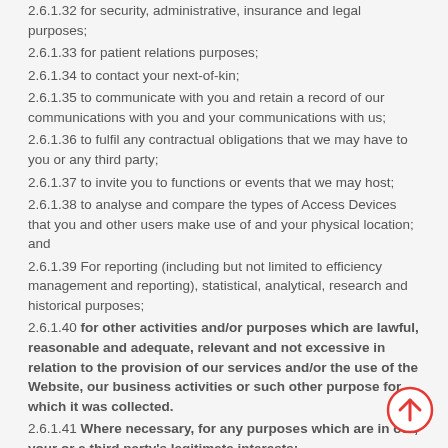2.6.1.32 for security, administrative, insurance and legal purposes;
2.6.1.33 for patient relations purposes;
2.6.1.34 to contact your next-of-kin;
2.6.1.35 to communicate with you and retain a record of our communications with you and your communications with us;
2.6.1.36 to fulfil any contractual obligations that we may have to you or any third party;
2.6.1.37 to invite you to functions or events that we may host;
2.6.1.38 to analyse and compare the types of Access Devices that you and other users make use of and your physical location; and
2.6.1.39 For reporting (including but not limited to efficiency management and reporting), statistical, analytical, research and historical purposes;
2.6.1.40 for other activities and/or purposes which are lawful, reasonable and adequate, relevant and not excessive in relation to the provision of our services and/or the use of the Website, our business activities or such other purpose for which it was collected.
2.6.1.41 Where necessary, for any purposes which are in our, your or a third party's legitimate interests;